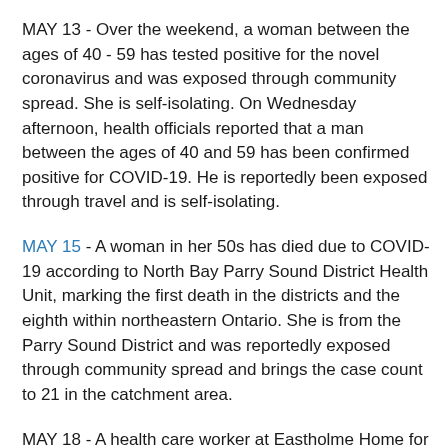MAY 13 - Over the weekend, a woman between the ages of 40 - 59 has tested positive for the novel coronavirus and was exposed through community spread. She is self-isolating. On Wednesday afternoon, health officials reported that a man between the ages of 40 and 59 has been confirmed positive for COVID-19. He is reportedly been exposed through travel and is self-isolating.
MAY 15 - A woman in her 50s has died due to COVID-19 according to North Bay Parry Sound District Health Unit, marking the first death in the districts and the eighth within northeastern Ontario. She is from the Parry Sound District and was reportedly exposed through community spread and brings the case count to 21 in the catchment area.
MAY 18 - A health care worker at Eastholme Home for the Aged in Powassan, south of North Bay has tested positive for COVID-19 as part of the province-wide surveillance testing of long-term care homes. As a result,